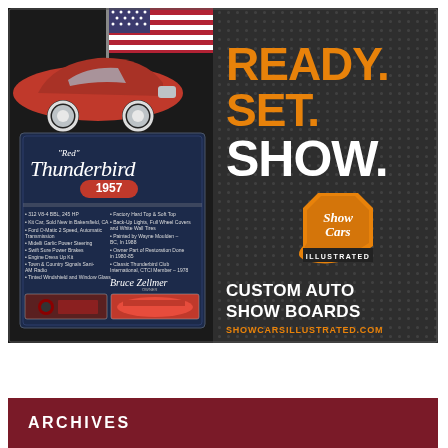[Figure (illustration): Advertisement for Show Cars Illustrated custom auto show boards. Left half shows a display board for a red 1957 Thunderbird with car photos and bullet-point specs, with a red classic car and American flag image above it. Right half on dark dotted background has text 'READY. SET. SHOW.' in orange/white, the Show Cars Illustrated shield logo in orange, 'CUSTOM AUTO SHOW BOARDS' in white bold, and 'SHOWCARSILLUSTRATED.COM' in orange.]
ARCHIVES